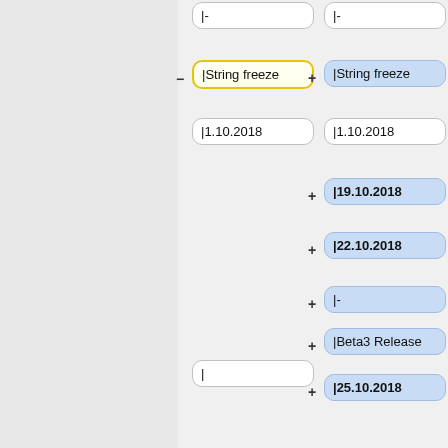[Figure (flowchart): Diff/comparison view of two columns of node boxes showing added and removed items. Left column (yellow border) shows removed items marked with minus signs, right column (blue background) shows added items marked with plus signs. Items include: '|-', '|String freeze', '|1.10.2018', '|19.10.2018', '|22.10.2018', '|-', '|Beta3 Release', '|25.10.2018', '|', '|25.10.2018', '|-']